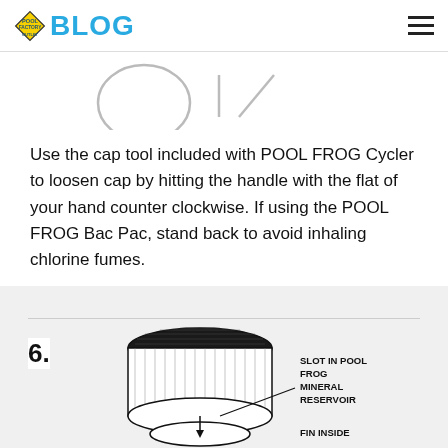BLOG
[Figure (illustration): Partial illustration of a pool frog cycler cap tool, showing step 5 (partially cropped at top)]
Use the cap tool included with POOL FROG Cycler to loosen cap by hitting the handle with the flat of your hand counter clockwise. If using the POOL FROG Bac Pac, stand back to avoid inhaling chlorine fumes.
[Figure (illustration): Step 6 diagram showing a cylindrical Pool Frog mineral reservoir with labels: SLOT IN POOL FROG MINERAL RESERVOIR, FIN INSIDE]